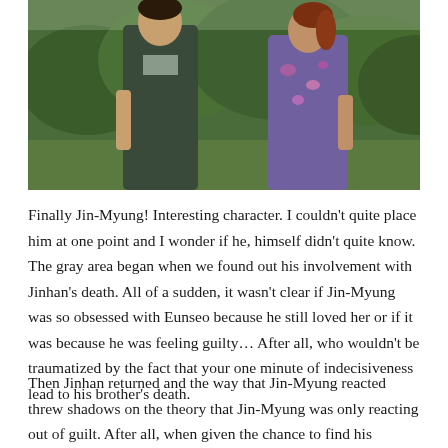[Figure (photo): Two people facing each other outdoors with lush green trees/mountains in background. A man in a dark gray sweater on the left faces a woman with auburn hair in a floral dress on the right.]
Finally Jin-Myung! Interesting character. I couldn't quite place him at one point and I wonder if he, himself didn't quite know. The gray area began when we found out his involvement with Jinhan's death. All of a sudden, it wasn't clear if Jin-Myung was so obsessed with Eunseo because he still loved her or if it was because he was feeling guilty… After all, who wouldn't be traumatized by the fact that your one minute of indecisiveness lead to his brother's death.
Then Jinhan returned and the way that Jin-Myung reacted threw shadows on the theory that Jin-Myung was only reacting out of guilt. After all, when given the chance to find his brother by sacrificing...